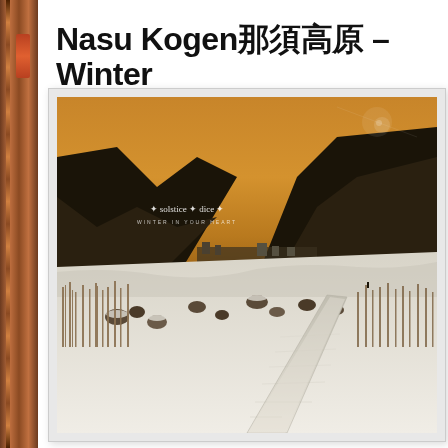Nasu Kogen那須高原 – Winter
[Figure (photo): Winter landscape photo of Nasu Kogen (那須高原) showing a snow-covered boardwalk path leading through a frozen wetland with dry grass and rocks, mountains in the background under a warm golden-orange sky. A watermark reads 'solstice * dice' in white text. Photo has a thin white border/frame.]